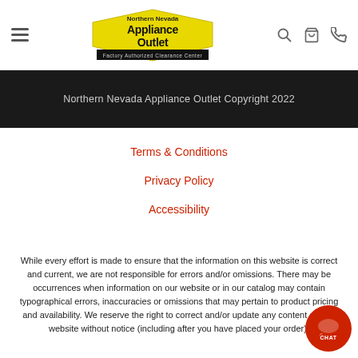[Figure (logo): Northern Nevada Appliance Outlet logo — yellow pentagon shape with 'Appliance Outlet' in bold black text, 'Northern Nevada' above, and 'Factory Authorized Clearance Center' on black banner below]
Northern Nevada Appliance Outlet Copyright 2022
Terms & Conditions
Privacy Policy
Accessibility
While every effort is made to ensure that the information on this website is correct and current, we are not responsible for errors and/or omissions. There may be occurrences when information on our website or in our catalog may contain typographical errors, inaccuracies or omissions that may pertain to product pricing and availability. We reserve the right to correct and/or update any content on this website without notice (including after you have placed your order).